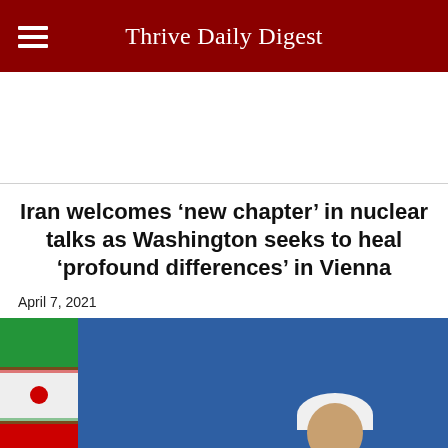Thrive Daily Digest
[Figure (photo): White ad/banner space below the header navigation bar]
Iran welcomes ‘new chapter’ in nuclear talks as Washington seeks to heal ‘profound differences’ in Vienna
April 7, 2021
[Figure (photo): Photo of an Iranian cleric in white turban against a blue backdrop, partially cropped, with Iranian flag visible on the left]